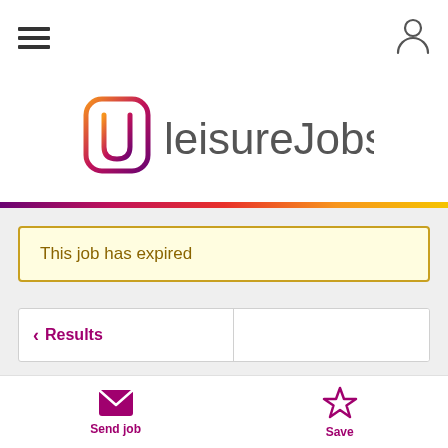[Figure (logo): LeisureJobs logo with hamburger menu icon and user profile icon in top navigation bar]
This job has expired
< Results
At Home Chefs - London
Send job
Save